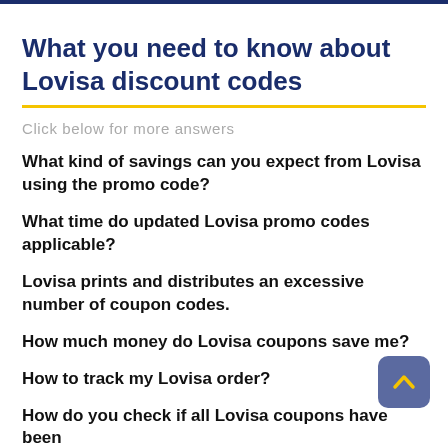What you need to know about Lovisa discount codes
Click below for more answers
What kind of savings can you expect from Lovisa using the promo code?
What time do updated Lovisa promo codes applicable?
Lovisa prints and distributes an excessive number of coupon codes.
How much money do Lovisa coupons save me?
How to track my Lovisa order?
How do you check if all Lovisa coupons have been